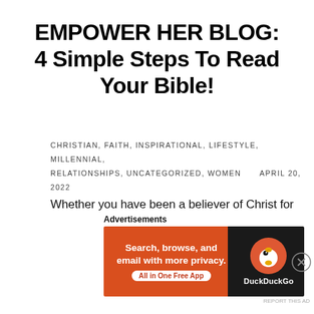EMPOWER HER BLOG: 4 Simple Steps To Read Your Bible!
CHRISTIAN, FAITH, INSPIRATIONAL, LIFESTYLE, MILLENNIAL, RELATIONSHIPS, UNCATEGORIZED, WOMEN    APRIL 20, 2022
Whether you have been a believer of Christ for one day or one hundred years, reading the Bible is something you understand helps you to grow
[Figure (infographic): DuckDuckGo advertisement banner: orange left section with text 'Search, browse, and email with more privacy. All in One Free App', dark right section with DuckDuckGo duck logo and brand name]